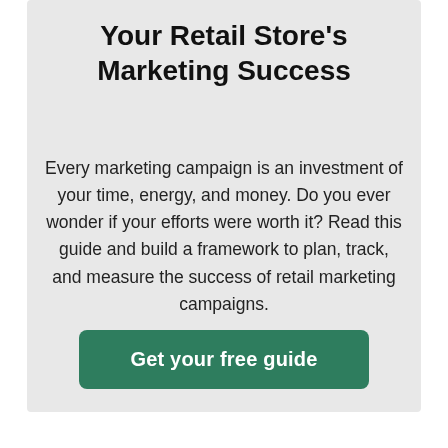Your Retail Store's Marketing Success
Every marketing campaign is an investment of your time, energy, and money. Do you ever wonder if your efforts were worth it? Read this guide and build a framework to plan, track, and measure the success of retail marketing campaigns.
Get your free guide